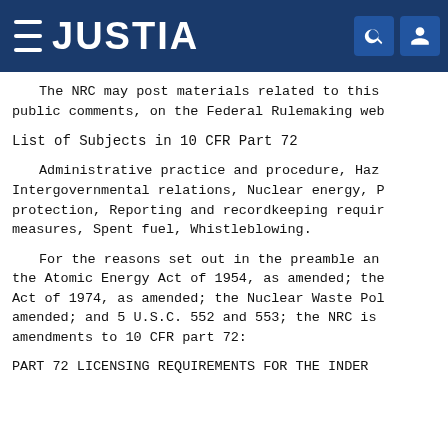JUSTIA
The NRC may post materials related to this public comments, on the Federal Rulemaking web
List of Subjects in 10 CFR Part 72
Administrative practice and procedure, Haz Intergovernmental relations, Nuclear energy, P protection, Reporting and recordkeeping requir measures, Spent fuel, Whistleblowing.
For the reasons set out in the preamble an the Atomic Energy Act of 1954, as amended; the Act of 1974, as amended; the Nuclear Waste Pol amended; and 5 U.S.C. 552 and 553; the NRC is amendments to 10 CFR part 72:
PART 72  LICENSING REQUIREMENTS FOR THE INDER